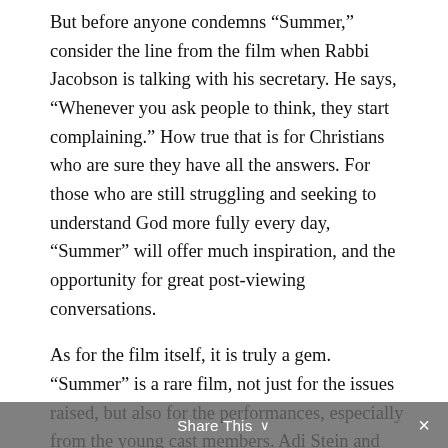But before anyone condemns “Summer,” consider the line from the film when Rabbi Jacobson is talking with his secretary. He says, “Whenever you ask people to think, they start complaining.” How true that is for Christians who are sure they have all the answers. For those who are still struggling and seeking to understand God more fully every day, “Summer” will offer much inspiration, and the opportunity for great post-viewing conversations.
As for the film itself, it is truly a gem. “Summer” is a rare film, not just for the issues raised, but also for the performances, especially from the young cast members. Adi Stein and Mike Weinberg embody the innocence and mischief vital for these roles. Aidan Quinn and Bonnie Hunt are authentic as the parents
Share This ∨ ×